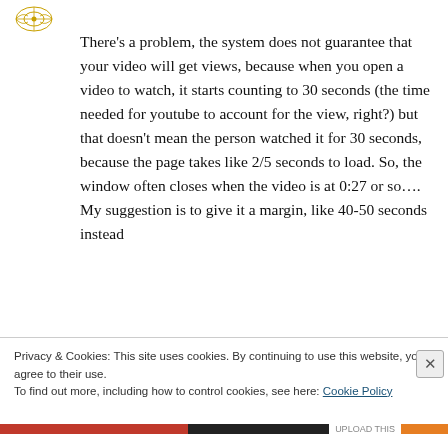[Figure (logo): Small decorative logo/emblem in top left corner]
There's a problem, the system does not guarantee that your video will get views, because when you open a video to watch, it starts counting to 30 seconds (the time needed for youtube to account for the view, right?) but that doesn't mean the person watched it for 30 seconds, because the page takes like 2/5 seconds to load. So, the window often closes when the video is at 0:27 or so.... My suggestion is to give it a margin, like 40-50 seconds instead
Privacy & Cookies: This site uses cookies. By continuing to use this website, you agree to their use.
To find out more, including how to control cookies, see here: Cookie Policy
Close and accept